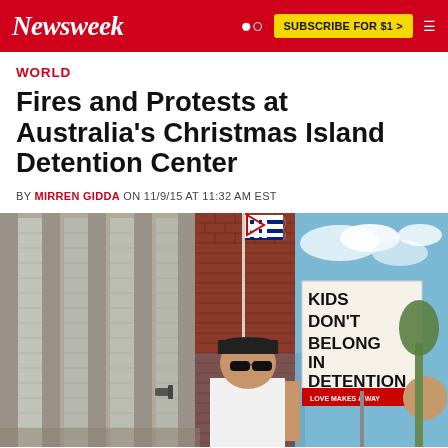Newsweek | SUBSCRIBE FOR $1 >
WORLD
Fires and Protests at Australia's Christmas Island Detention Center
BY MIRREN GIDDA ON 11/9/15 AT 11:32 AM EST
[Figure (photo): A protest scene outside a brick detention facility building. A person wearing a black cap, white t-shirt and sunglasses holds a sign reading 'KIDS DON'T BELONG IN DETENTION'. An Australian flag flies in the background against a blue sky.]